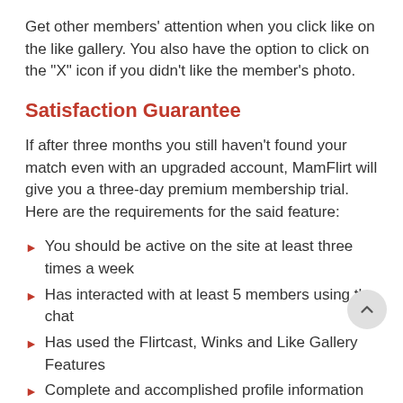Get other members' attention when you click like on the like gallery. You also have the option to click on the "X" icon if you didn't like the member's photo.
Satisfaction Guarantee
If after three months you still haven't found your match even with an upgraded account, MamFlirt will give you a three-day premium membership trial. Here are the requirements for the said feature:
You should be active on the site at least three times a week
Has interacted with at least 5 members using the chat
Has used the Flirtcast, Winks and Like Gallery Features
Complete and accomplished profile information
Has at least two approved profile photos
Searched actively for matches using basic and advanced search options